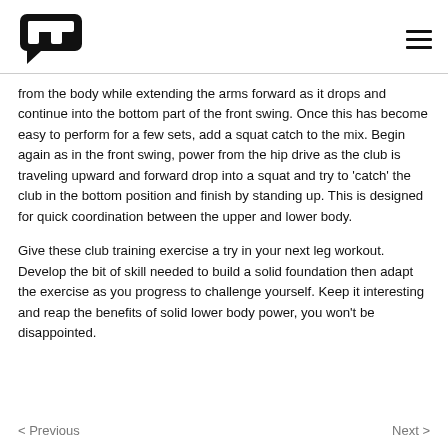[Logo] [Hamburger menu]
from the body while extending the arms forward as it drops and continue into the bottom part of the front swing. Once this has become easy to perform for a few sets, add a squat catch to the mix. Begin again as in the front swing, power from the hip drive as the club is traveling upward and forward drop into a squat and try to 'catch' the club in the bottom position and finish by standing up. This is designed for quick coordination between the upper and lower body.
Give these club training exercise a try in your next leg workout. Develop the bit of skill needed to build a solid foundation then adapt the exercise as you progress to challenge yourself. Keep it interesting and reap the benefits of solid lower body power, you won't be disappointed.
< Previous    Next >